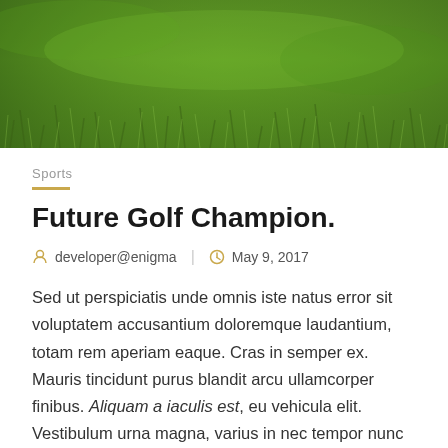[Figure (photo): Aerial or close-up photo of green grass, used as a hero banner image at the top of the article.]
Sports
Future Golf Champion.
developer@enigma  |  May 9, 2017
Sed ut perspiciatis unde omnis iste natus error sit voluptatem accusantium doloremque laudantium, totam rem aperiam eaque. Cras in semper ex. Mauris tincidunt purus blandit arcu ullamcorper finibus. Aliquam a iaculis est, eu vehicula elit. Vestibulum urna magna, varius in nec tempor nunc blandit nec. Integer condimentum acdui ac. Morbi mollis vestibulum sollicitudin. Nunc in eros a justo facilisis rutrum. Aenean id ullamcorper libero.